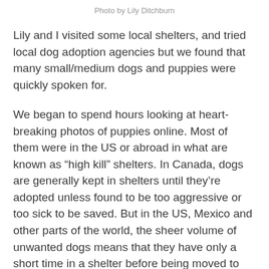Photo by Lily Ditchburn
Lily and I visited some local shelters, and tried local dog adoption agencies but we found that many small/medium dogs and puppies were quickly spoken for.
We began to spend hours looking at heart-breaking photos of puppies online. Most of them were in the US or abroad in what are known as “high kill” shelters. In Canada, dogs are generally kept in shelters until they’re adopted unless found to be too aggressive or too sick to be saved. But in the US, Mexico and other parts of the world, the sheer volume of unwanted dogs means that they have only a short time in a shelter before being moved to the “euthanize” list.